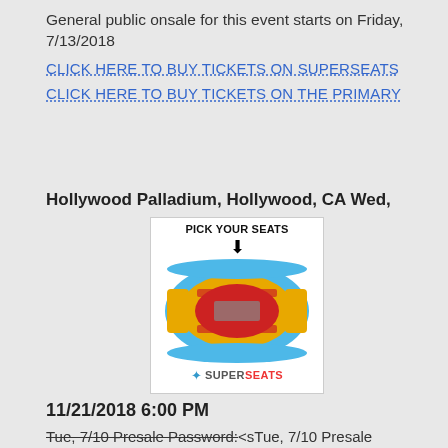General public onsale for this event starts on Friday, 7/13/2018
CLICK HERE TO BUY TICKETS ON SUPERSEATS
CLICK HERE TO BUY TICKETS ON THE PRIMARY
Hollywood Palladium, Hollywood, CA Wed,
[Figure (other): SuperSeats venue seating chart with 'PICK YOUR SEATS' label and arrow, showing a stadium seating diagram in red, gold/yellow and blue colors, with SuperSeats branding at the bottom]
11/21/2018 6:00 PM
<sTue, 7/10 Presale Password: SHADOWBOXER
Wed, 7/11 Live Nation Presale Password: SUNSET